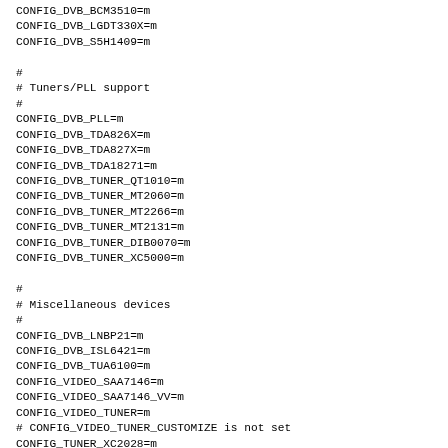CONFIG_DVB_BCM3510=m
CONFIG_DVB_LGDT330X=m
CONFIG_DVB_S5H1409=m

#
# Tuners/PLL support
#
CONFIG_DVB_PLL=m
CONFIG_DVB_TDA826X=m
CONFIG_DVB_TDA827X=m
CONFIG_DVB_TDA18271=m
CONFIG_DVB_TUNER_QT1010=m
CONFIG_DVB_TUNER_MT2060=m
CONFIG_DVB_TUNER_MT2266=m
CONFIG_DVB_TUNER_MT2131=m
CONFIG_DVB_TUNER_DIB0070=m
CONFIG_DVB_TUNER_XC5000=m

#
# Miscellaneous devices
#
CONFIG_DVB_LNBP21=m
CONFIG_DVB_ISL6421=m
CONFIG_DVB_TUA6100=m
CONFIG_VIDEO_SAA7146=m
CONFIG_VIDEO_SAA7146_VV=m
CONFIG_VIDEO_TUNER=m
# CONFIG_VIDEO_TUNER_CUSTOMIZE is not set
CONFIG_TUNER_XC2028=m
CONFIG_TUNER_MT20XX=m
CONFIG_TUNER_TDA8290